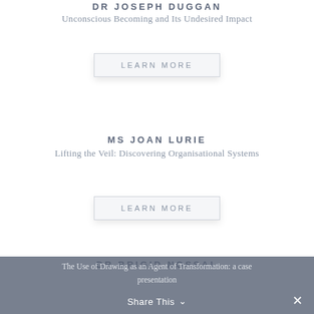DR JOSEPH DUGGAN
Unconscious Becoming and Its Undesired Impact
LEARN MORE
MS JOAN LURIE
Lifting the Veil: Discovering Organisational Systems
LEARN MORE
DR BRIGID NOSSAL
The Use of Drawing as an Agent of Transformation: a case presentation
Share This ✓  ✕